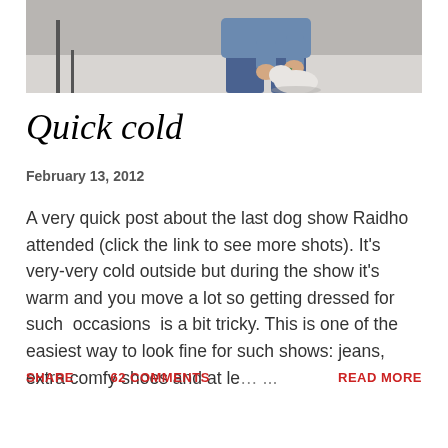[Figure (photo): A person crouching down, holding a green leash attached to a dog at what appears to be a dog show. The person is wearing jeans and a denim jacket.]
Quick cold
February 13, 2012
A very quick post about the last dog show Raidho attended (click the link to see more shots). It's very-very cold outside but during the show it's warm and you move a lot so getting dressed for such occasions is a bit tricky. This is one of the easiest way to look fine for such shows: jeans, extra comfy shoes and at le…
SHARE   62 COMMENTS   READ MORE